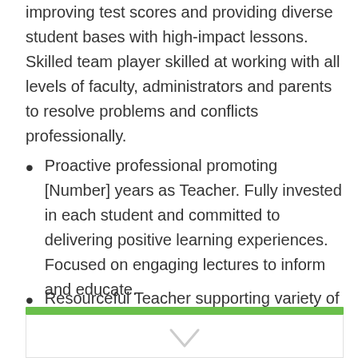improving test scores and providing diverse student bases with high-impact lessons. Skilled team player skilled at working with all levels of faculty, administrators and parents to resolve problems and conflicts professionally.
Proactive professional promoting [Number] years as Teacher. Fully invested in each student and committed to delivering positive learning experiences. Focused on engaging lectures to inform and educate.
Resourceful Teacher supporting variety of methods to instruct students in and outside classroom. Dedicated to motivating others and knowledgeable in safety procedures and [Type] testing requirements.
[Figure (other): Green horizontal bar decoration at bottom of page with white content area below]